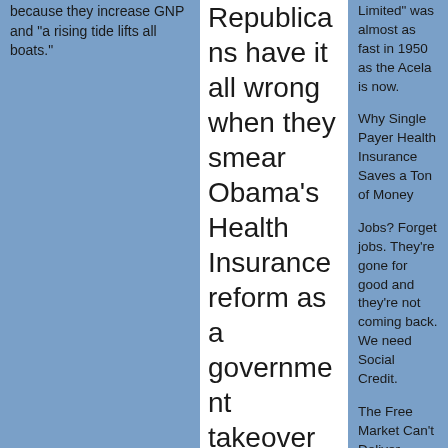because they increase GNP and "a rising tide lifts all boats."
Republicans have it all wrong when they smear Obama's Health Insurance reform as a government takeover of healthcare. Actually,
Limited" was almost as fast in 1950 as the Acela is now.
Why Single Payer Health Insurance Saves a Ton of Money
Jobs? Forget jobs. They're gone for good and they're not coming back. We need Social Credit.
The Free Market Can't Deliver Health Insurance. At all. Ever.
Why do we keep hearing about "sovereign debt", not total debt?